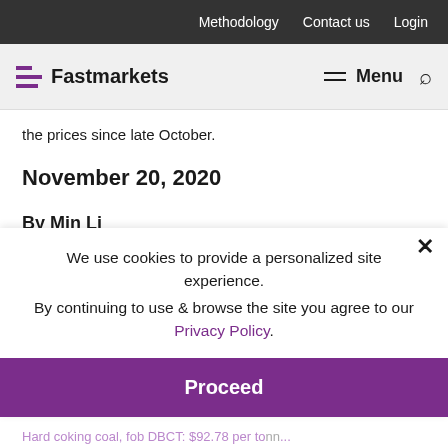Methodology   Contact us   Login
Fastmarkets   Menu
the prices since late October.
November 20, 2020
By Min Li
Asia   India   China
We use cookies to provide a personalized site experience.
By continuing to use & browse the site you agree to our Privacy Policy.
Premium hard coking coal, fob DBCT: $98.40 per tonne, up $0.82 per tonne
Proceed
Hard coking coal, fob DBCT: $92.78 per tonne